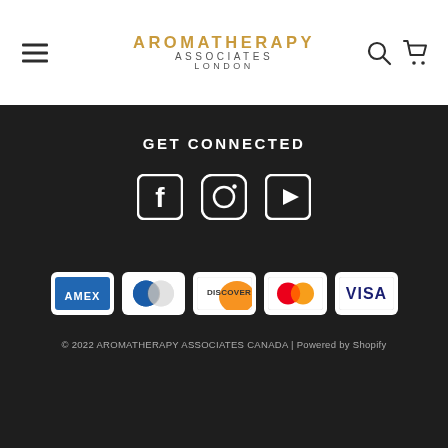Aromatherapy Associates London
GET CONNECTED
[Figure (illustration): Social media icons: Facebook, Instagram, YouTube]
[Figure (illustration): Payment method icons: Amex, Diners Club, Discover, Mastercard, Visa]
© 2022 AROMATHERAPY ASSOCIATES CANADA | Powered by Shopify